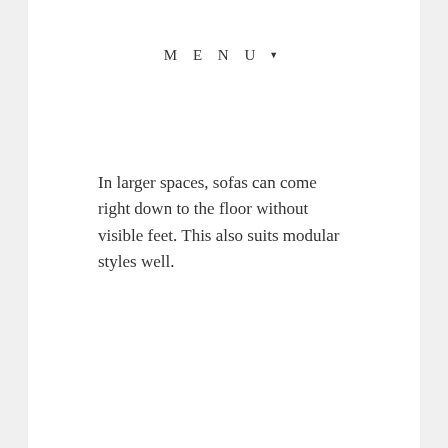MENU ▼
In larger spaces, sofas can come right down to the floor without visible feet. This also suits modular styles well.